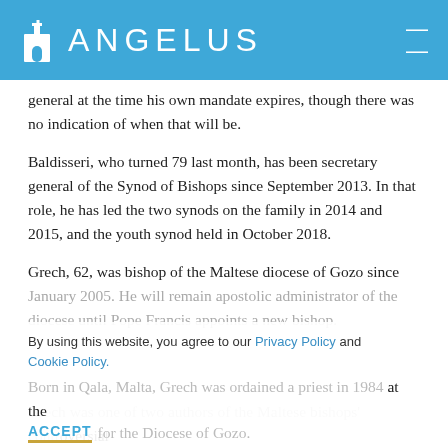ANGELUS
general at the time his own mandate expires, though there was no indication of when that will be.
Baldisseri, who turned 79 last month, has been secretary general of the Synod of Bishops since September 2013. In that role, he has led the two synods on the family in 2014 and 2015, and the youth synod held in October 2018.
Grech, 62, was bishop of the Maltese diocese of Gozo since January 2005. He will remain apostolic administrator of the diocese until Pope Francis appoints a new bishop.
By using this website, you agree to our Privacy Policy and Cookie Policy.
Born in Qala, Malta, Grech was ordained a priest in 1984 at the age of 27, for the Diocese of Gozo.
Grech was one of two authors of the Maltese bishops' controversial